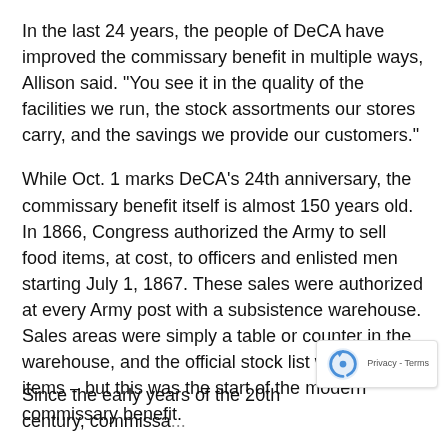In the last 24 years, the people of DeCA have improved the commissary benefit in multiple ways, Allison said. "You see it in the quality of the facilities we run, the stock assortments our stores carry, and the savings we provide our customers."
While Oct. 1 marks DeCA's 24th anniversary, the commissary benefit itself is almost 150 years old. In 1866, Congress authorized the Army to sell food items, at cost, to officers and enlisted men starting July 1, 1867. These sales were authorized at every Army post with a subsistence warehouse. Sales areas were simply a table or counter in the warehouse, and the official stock list was only 82 items – but this was the start of the modern commissary benefit.
Since the early years of the 20th century, commissa...